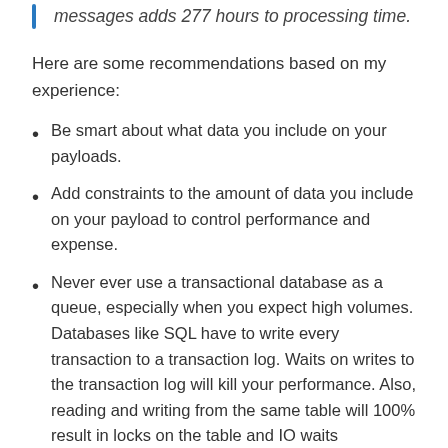messages adds 277 hours to processing time.
Here are some recommendations based on my experience:
Be smart about what data you include on your payloads.
Add constraints to the amount of data you include on your payload to control performance and expense.
Never ever use a transactional database as a queue, especially when you expect high volumes. Databases like SQL have to write every transaction to a transaction log. Waits on writes to the transaction log will kill your performance. Also, reading and writing from the same table will 100% result in locks on the table and IO waits